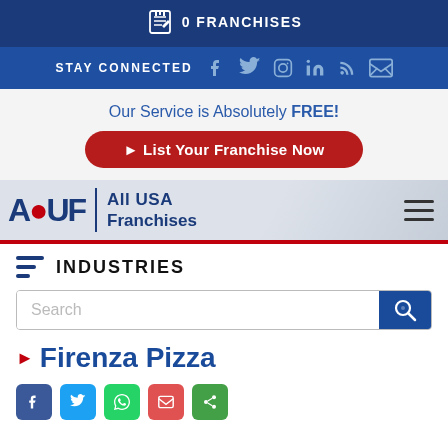0 FRANCHISES
STAY CONNECTED
Our Service is Absolutely FREE!
▶ List Your Franchise Now
[Figure (logo): AUF | All USA Franchises logo with red accent dot on A]
INDUSTRIES
Search
▸ Firenza Pizza